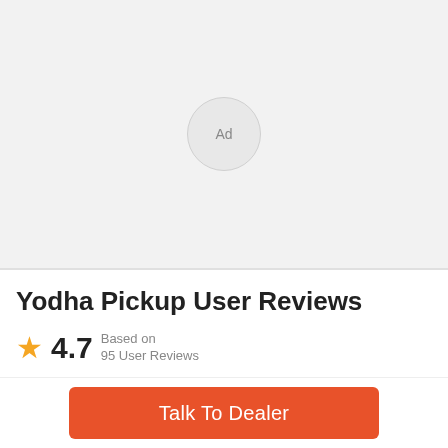[Figure (other): Ad placeholder circle with text 'Ad' on light gray background]
Yodha Pickup User Reviews
★ 4.7  Based on 95 User Reviews
Talk To Dealer